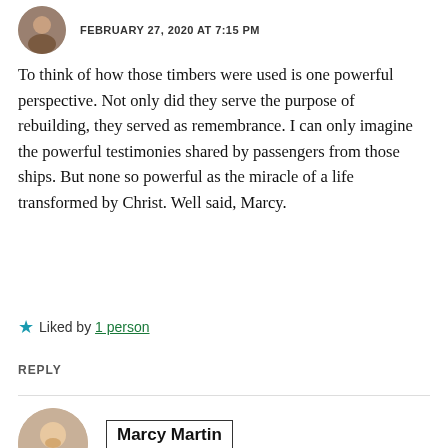FEBRUARY 27, 2020 AT 7:15 PM
To think of how those timbers were used is one powerful perspective. Not only did they serve the purpose of rebuilding, they served as remembrance. I can only imagine the powerful testimonies shared by passengers from those ships. But none so powerful as the miracle of a life transformed by Christ. Well said, Marcy.
★ Liked by 1 person
REPLY
Marcy Martin
FEBRUARY 28, 2020 AT 8:22 AM